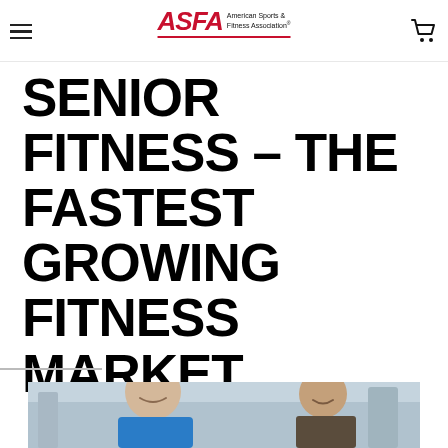ASFA American Sports & Fitness Association
SENIOR FITNESS - THE FASTEST GROWING FITNESS MARKET
[Figure (photo): An older man in a blue shirt smiling at a younger man, appearing to be in a gym or fitness setting. A fitness trainer working with a senior client.]